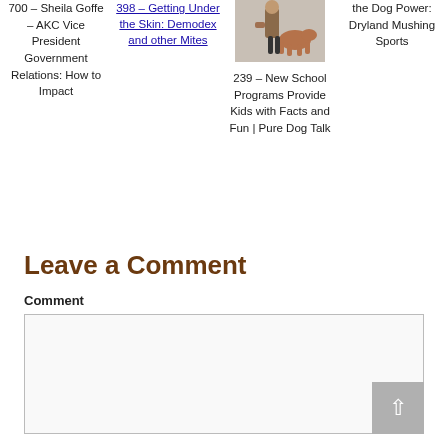700 – Sheila Goffe – AKC Vice President Government Relations: How to Impact
398 – Getting Under the Skin: Demodex and other Mites
[Figure (photo): Photo of a child walking with a dog]
239 – New School Programs Provide Kids with Facts and Fun | Pure Dog Talk
the Dog Power: Dryland Mushing Sports
Leave a Comment
Comment